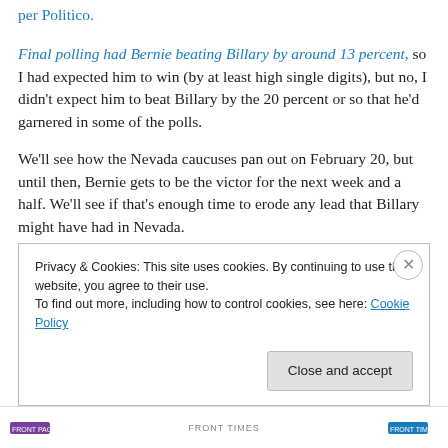per Politico.
Final polling had Bernie beating Billary by around 13 percent, so I had expected him to win (by at least high single digits), but no, I didn't expect him to beat Billary by the 20 percent or so that he'd garnered in some of the polls.
We'll see how the Nevada caucuses pan out on February 20, but until then, Bernie gets to be the victor for the next week and a half. We'll see if that's enough time to erode any lead that Billary might have had in Nevada.
Privacy & Cookies: This site uses cookies. By continuing to use this website, you agree to their use.
To find out more, including how to control cookies, see here: Cookie Policy
Close and accept